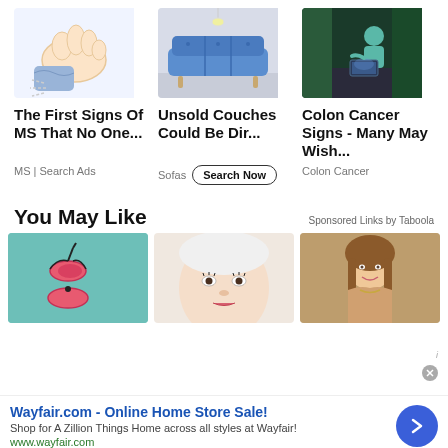[Figure (illustration): Illustration of a hand with finger snap or tremor motion]
[Figure (photo): Photo of a blue velvet sofa/couch on wooden legs against white background]
[Figure (illustration): Illustration of a person sitting cross-legged using a laptop, with teal and dark background]
The First Signs Of MS That No One...
MS | Search Ads
Unsold Couches Could Be Dir...
Sofas  Search Now
Colon Cancer Signs - Many May Wish...
Colon Cancer
You May Like
Sponsored Links by Taboola
[Figure (photo): Photo of pink bikini hanging on teal/mint wall]
[Figure (photo): Photo of woman with white headband, close-up beauty shot]
[Figure (photo): Photo of smiling woman, portrait shot]
Wayfair.com - Online Home Store Sale!
Shop for A Zillion Things Home across all styles at Wayfair!
www.wayfair.com